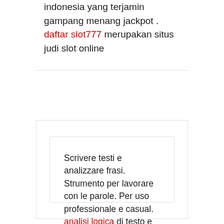indonesia yang terjamin gampang menang jackpot . daftar slot777 merupakan situs judi slot online
Scrivere testi e analizzare frasi. Strumento per lavorare con le parole. Per uso professionale e casual. analisi logica di testo e varie costruzioni grammaticali. Questo strumento ti aiuterà ad analizzare la tua grammatica e l'ortografia